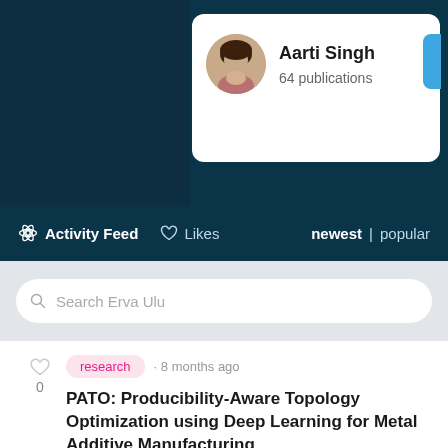[Figure (screenshot): Profile card showing Aarti Singh with avatar, name, and 64 publications]
Aarti Singh
64 publications
Activity Feed
Likes
newest | popular
Search Erva Ulu
research · 8 months ago
PATO: Producibility-Aware Topology Optimization using Deep Learning for Metal Additive Manufacturing
In this paper, we propose PATO-a producibility-aware topology